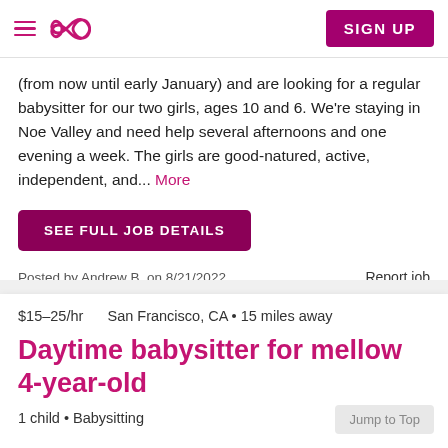Navigation bar with hamburger menu, infinity logo, and SIGN UP button
(from now until early January) and are looking for a regular babysitter for our two girls, ages 10 and 6. We're staying in Noe Valley and need help several afternoons and one evening a week. The girls are good-natured, active, independent, and... More
SEE FULL JOB DETAILS
Posted by Andrew B. on 8/21/2022
Report job
$15–25/hr   San Francisco, CA • 15 miles away
Daytime babysitter for mellow 4-year-old
1 child • Babysitting